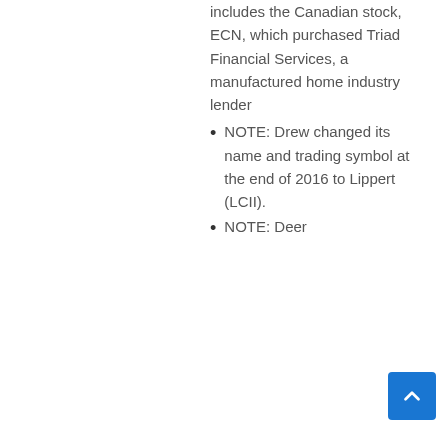includes the Canadian stock, ECN, which purchased Triad Financial Services, a manufactured home industry lender
NOTE: Drew changed its name and trading symbol at the end of 2016 to Lippert (LCII).
NOTE: Deer